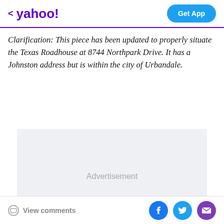< yahoo!   Get App
Clarification: This piece has been updated to properly situate the Texas Roadhouse at 8744 Northpark Drive. It has a Johnston address but is within the city of Urbandale.
[Figure (other): Advertisement placeholder box with light gray background and 'Advertisement' label in center]
View comments  [Facebook] [Twitter] [Email]